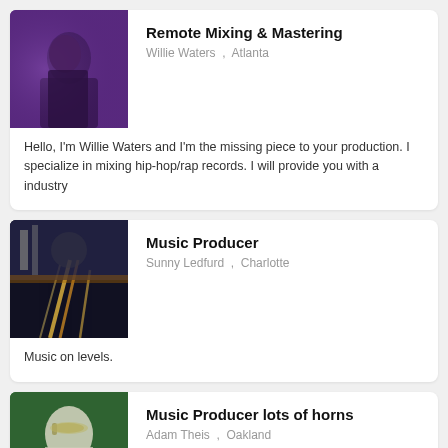[Figure (photo): Photo of Willie Waters at a recording studio with purple lighting]
Remote Mixing & Mastering
Willie Waters , Atlanta
Hello, I'm Willie Waters and I'm the missing piece to your production. I specialize in mixing hip-hop/rap records. I will provide you with a industry
[Figure (photo): Night city street with light trails from traffic]
Music Producer
Sunny Ledfurd , Charlotte
Music on levels.
[Figure (photo): Person in hat playing trombone outdoors]
Music Producer lots of horns
Adam Theis , Oakland